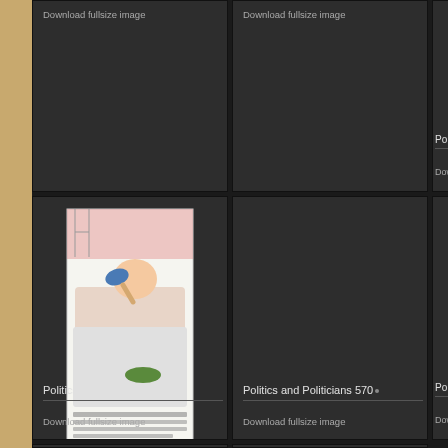[Figure (illustration): Dark grid cell with 'Download fullsize image' link, top-left, row 1]
Download fullsize image
[Figure (illustration): Dark grid cell with 'Download fullsize image' link, top-center, row 1]
Download fullsize image
[Figure (illustration): Partial dark grid cell top-right, partially cut off, showing partial title 'Po...' and 'Dow...']
[Figure (illustration): Dark grid cell with cartoon illustration of politician on telephone in bed, row 2 left]
Politics and Politicians 569
Download fullsize image
[Figure (illustration): Dark grid cell, row 2 center]
Politics and Politicians 570
Download fullsize image
[Figure (illustration): Partial dark grid cell right column, row 2, partially cut off]
Politics and Politicians 572
Politics and Politicians 574